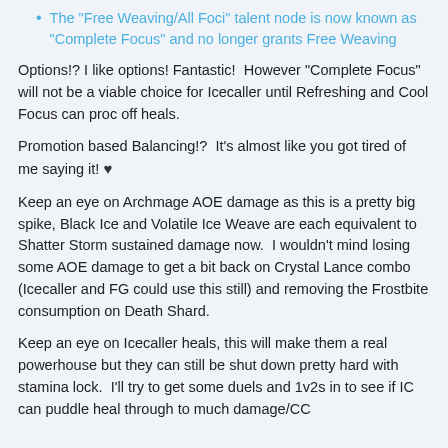The "Free Weaving/All Foci" talent node is now known as "Complete Focus" and no longer grants Free Weaving
Options!? I like options! Fantastic!  However "Complete Focus" will not be a viable choice for Icecaller until Refreshing and Cool Focus can proc off heals.
Promotion based Balancing!?  It's almost like you got tired of me saying it! ♥
Keep an eye on Archmage AOE damage as this is a pretty big spike, Black Ice and Volatile Ice Weave are each equivalent to Shatter Storm sustained damage now.  I wouldn't mind losing some AOE damage to get a bit back on Crystal Lance combo (Icecaller and FG could use this still) and removing the Frostbite consumption on Death Shard.
Keep an eye on Icecaller heals, this will make them a real powerhouse but they can still be shut down pretty hard with stamina lock.  I'll try to get some duels and 1v2s in to see if IC can puddle heal through to much damage/CC